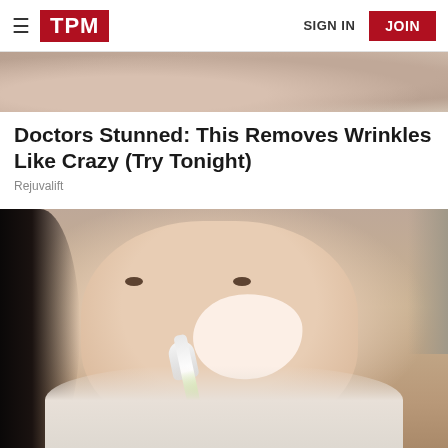TPM | SIGN IN | JOIN
[Figure (photo): Partial photo of a person's face/hand, cropped at top of page]
Doctors Stunned: This Removes Wrinkles Like Crazy (Try Tonight)
Rejuvalift
[Figure (photo): Woman applying a white cream/paste to her nose and cheek area with a toothbrush, wearing a white dotted shirt, dark hair, looking slightly upward]